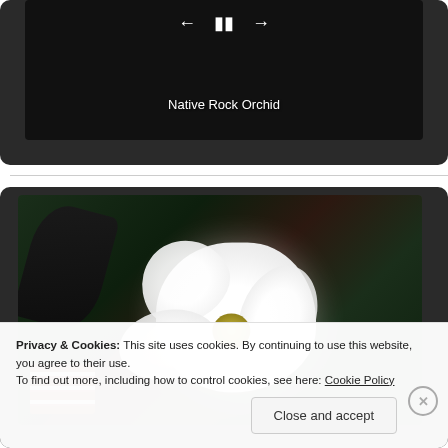[Figure (screenshot): Video player showing 'Native Rock Orchid' with playback controls (back, pause, forward) on dark background]
[Figure (photo): Large white flower (magnolia-like) with yellow-green center, surrounded by dark green leaves, in a dark-framed video player]
Privacy & Cookies: This site uses cookies. By continuing to use this website, you agree to their use.
To find out more, including how to control cookies, see here: Cookie Policy
Close and accept